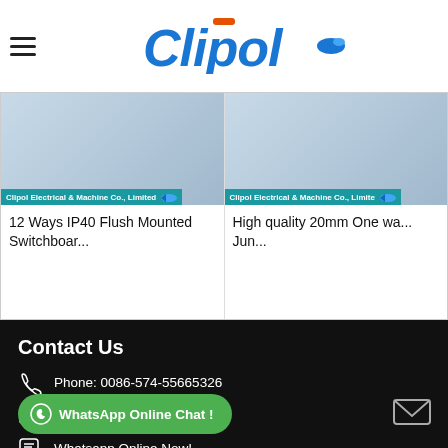Clipol — Clipol Electrical & Machine Co., Limited
[Figure (logo): Clipol logo in blue stylized text with orange accent bar over the i]
12 Ways IP40 Flush Mounted Switchboar...
High quality 20mm One wa... Jun...
Contact Us
Phone: 0086-574-55665326
E-mail: sales8@clipol.com
Whatsapp Online Now!
WhatsApp Online Chat !